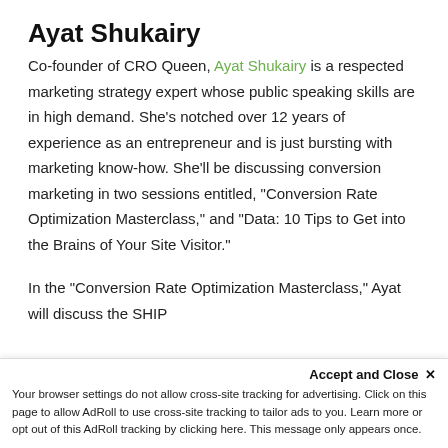Ayat Shukairy
Co-founder of CRO Queen, Ayat Shukairy is a respected marketing strategy expert whose public speaking skills are in high demand. She's notched over 12 years of experience as an entrepreneur and is just bursting with marketing know-how. She'll be discussing conversion marketing in two sessions entitled, "Conversion Rate Optimization Masterclass," and "Data: 10 Tips to Get into the Brains of Your Site Visitor."
In the "Conversion Rate Optimization Masterclass," Ayat will discuss the SHIP
Accept and Close ×
Your browser settings do not allow cross-site tracking for advertising. Click on this page to allow AdRoll to use cross-site tracking to tailor ads to you. Learn more or opt out of this AdRoll tracking by clicking here. This message only appears once.